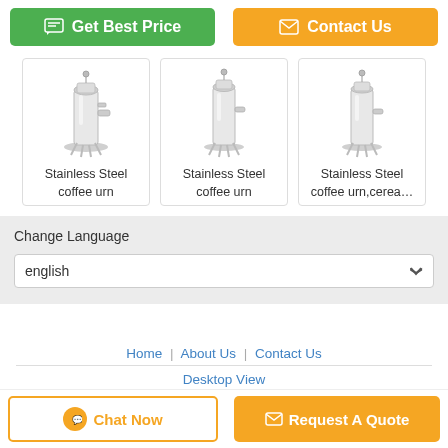[Figure (screenshot): Two CTA buttons: green 'Get Best Price' and orange 'Contact Us']
[Figure (photo): Three stainless steel coffee urn product images in bordered cards]
Stainless Steel coffee urn
Stainless Steel coffee urn
Stainless Steel coffee urn,cerea…
Change Language
english
Home | About Us | Contact Us
Desktop View
China Coffee Urn Supplier. Copyright © 2016 - 2022 sanhekitchen.com. All rights reserved. Developed by ECER
[Figure (screenshot): Bottom bar with 'Chat Now' and 'Request A Quote' buttons]